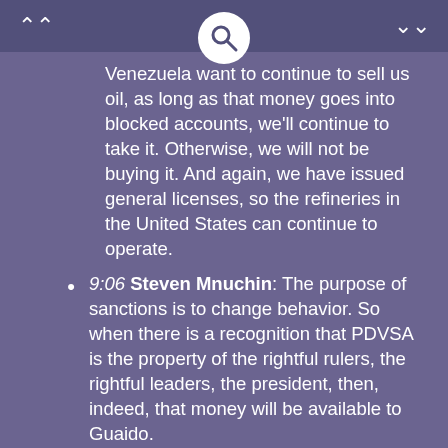Navigation header with search icon
Venezuela want to continue to sell us oil, as long as that money goes into blocked accounts, we'll continue to take it. Otherwise, we will not be buying it. And again, we have issued general licenses, so the refineries in the United States can continue to operate.
9:06 Steven Mnuchin: The purpose of sanctions is to change behavior. So when there is a recognition that PDVSA is the property of the rightful rulers, the rightful leaders, the president, then, indeed, that money will be available to Guaido.
Interview: Jenny McCarthy talks to CNN on how she cured her sons Autism caused by VACCINATIONS, CNN, October 23, 2008.
Documentary: Mission, Measles - The